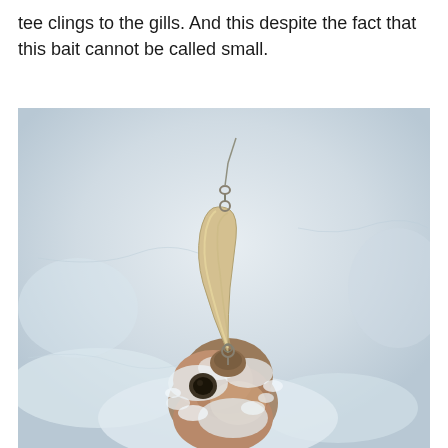tee clings to the gills. And this despite the fact that this bait cannot be called small.
[Figure (photo): A fish (appearing to be a perch or bass) caught on ice with a fishing lure/spoon hooked through its mouth. The lure is a curved metallic blade spoon with a swivel at top. The fish's head and gills are visible, partially covered in snow/ice. The background is a light icy/snowy surface.]